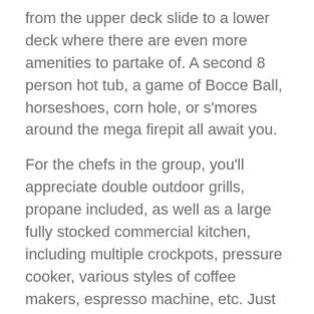from the upper deck slide to a lower deck where there are even more amenities to partake of. A second 8 person hot tub, a game of Bocce Ball, horseshoes, corn hole, or s'mores around the mega firepit all await you.
For the chefs in the group, you'll appreciate double outdoor grills, propane included, as well as a large fully stocked commercial kitchen, including multiple crockpots, pressure cooker, various styles of coffee makers, espresso machine, etc. Just bring the food and an appetite. We have all the bells and whistles, including a 60" Thermador range with double ovens, double sinks, double dishwashers and every appliance to make cooking those large gourmet meals for big groups so much easier.
For those who seek relaxation, why go to a spa when you can Hideaway? Start by choosing which ultimate 4D zero gravity massage chair you'd like to sink into. After that, enjoy the views while relaxing in our 12 person Sauna from